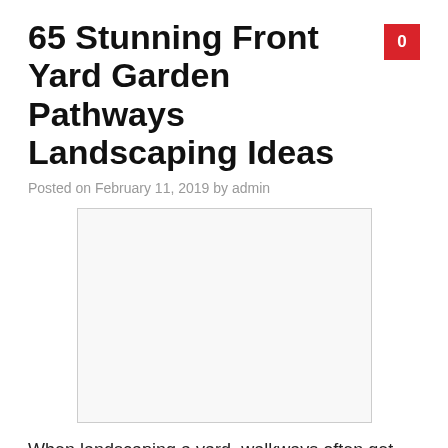65 Stunning Front Yard Garden Pathways Landscaping Ideas
Posted on February 11, 2019 by admin
[Figure (photo): Placeholder image box with light grey border, representing a front yard garden pathway photo]
When landscaping a yard, walkways often get overlooked. We concern ourselves with pools, patios, and plant selections, but then we neglect to consider